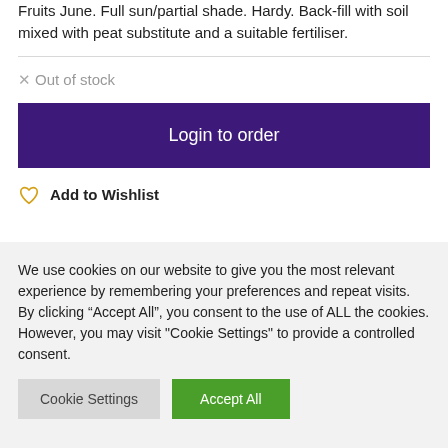Fruits June. Full sun/partial shade. Hardy. Back-fill with soil mixed with peat substitute and a suitable fertiliser.
Out of stock
Login to order
Add to Wishlist
We use cookies on our website to give you the most relevant experience by remembering your preferences and repeat visits. By clicking “Accept All”, you consent to the use of ALL the cookies. However, you may visit "Cookie Settings" to provide a controlled consent.
Cookie Settings
Accept All